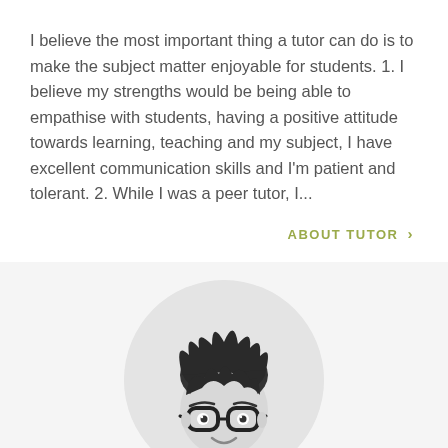I believe the most important thing a tutor can do is to make the subject matter enjoyable for students. 1. I believe my strengths would be being able to empathise with students, having a positive attitude towards learning, teaching and my subject, I have excellent communication skills and I'm patient and tolerant. 2. While I was a peer tutor, I...
ABOUT TUTOR >
[Figure (illustration): Cartoon illustration of a young man with dark spiky hair wearing glasses, smiling, shown from shoulders up, in grayscale]